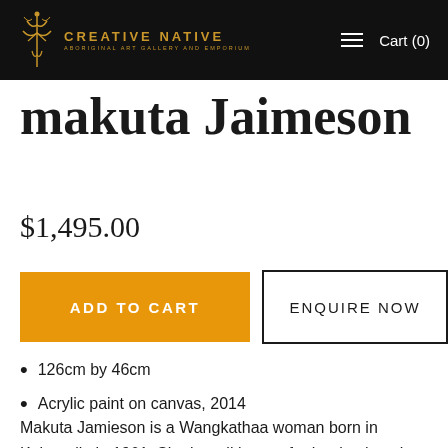CREATIVE NATIVE | ABORIGINAL ART GALLERY AND EMPORIUM | Cart (0)
makuta Jaimeson
$1,495.00
ADD TO CART | ENQUIRE NOW
126cm by 46cm
Acrylic paint on canvas, 2014
Makuta Jamieson is a Wangkathaa woman born in Kalgoorlie in 1961. She is well known for her bush tucker